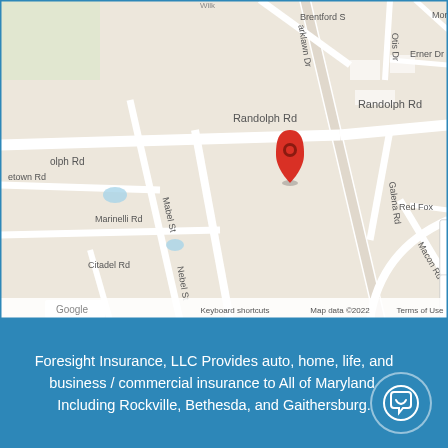[Figure (map): Google Maps screenshot showing Randolph Rd area in Maryland near Parklawn Dr intersection, with a red location pin marker. Roads visible include Randolph Rd, Parklawn Dr, Nebel St, Galena Rd, Macon Rd, Boiling Brook Pkwy, Marinelli Rd, Citadel Rd. Map shows zoom controls (+/-). Footer shows: Keyboard shortcuts, Map data ©2022, Terms of Use. Google logo visible in lower left.]
Foresight Insurance, LLC Provides auto, home, life, and business / commercial insurance to All of Maryland, Including Rockville, Bethesda, and Gaithersburg.